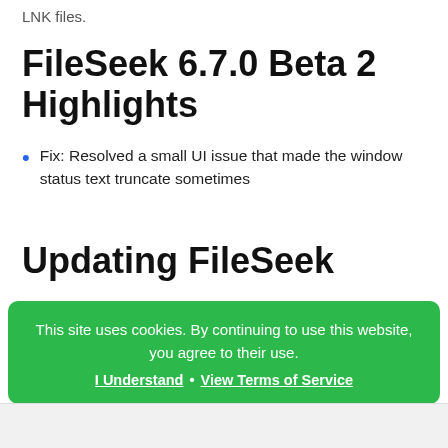LNK files.
FileSeek 6.7.0 Beta 2 Highlights
Fix: Resolved a small UI issue that made the window status text truncate sometimes
Updating FileSeek
We encourage everyone to update to the new version today
This site uses cookies. By continuing to use this website, you agree to their use. I Understand · View Terms of Service